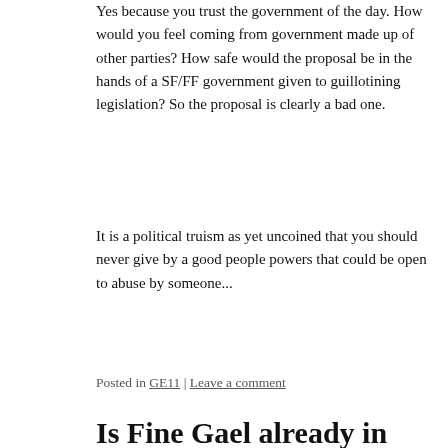Yes because you trust the government of the day. How would you feel coming from government made up of other parties? How safe would the proposal be in the hands of a SF/FF government given to guillotining legislation? So the proposal is clearly a bad one.
It is a political truism as yet uncoined that you should never give by a good people powers that could be open to abuse by someone...
Posted in GE11 | Leave a comment
Is Fine Gael already in greater crisis than...
Posted on July 7, 2013 by dsullivan
Deeper problems could already have been set in train by a combination of the loss of the whip by four members of the Fine Gael parliamentary party and the...